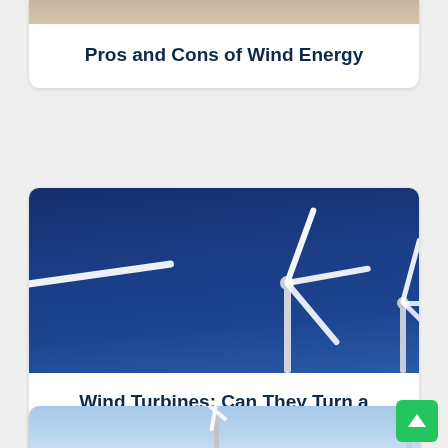Pros and Cons of Wind Energy
[Figure (photo): Wind turbine photograph - partial card showing top image cropped]
[Figure (photo): Wind turbines against deep blue sky - two large wind turbines photographed from below]
Wind Turbines: Can They Turn a Profit?
[Figure (photo): Wind turbines against light blue sky - partial card at bottom of page]